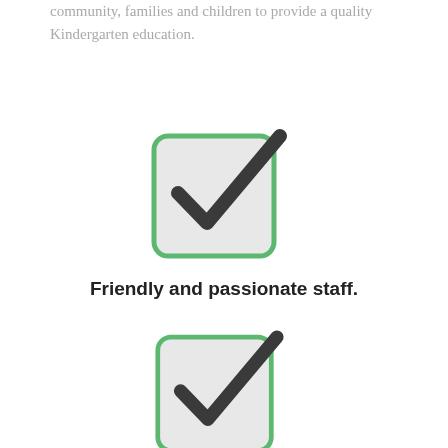community, families and children to provide a quality Kindergarten education.
[Figure (illustration): Green-bordered checkbox with a dark checkmark icon]
Friendly and passionate staff.
[Figure (illustration): Green-bordered checkbox with a dark checkmark icon]